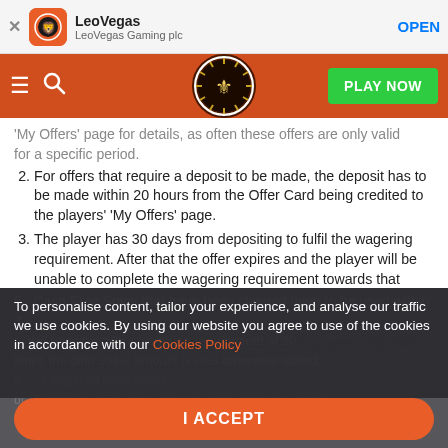[Figure (screenshot): App store banner with LeoVegas app icon, name, LeoVegas Gaming plc subtitle, and OPEN button]
[Figure (screenshot): LeoVegas navigation bar with hamburger menu, search icon, lion logo, and PLAY NOW button]
'My Offers' page for details, as often these offers are only valid for a specific period.
2. For offers that require a deposit to be made, the deposit has to be made within 20 hours from the Offer Card being credited to the players' 'My Offers' page.
3. The player has 30 days from depositing to fulfil the wagering requirement. After that the offer expires and the player will be unable to complete the wagering requirement towards that offer.
4. Offers that only need to be claimed have to be accepted within 12 hours from the card being credited to the players' 'My Offers' page, unless otherwise stated.
5. Cash Free Spins that have been claimed have to be used within 3 ... will be subject to a wagering requirement of 20 times the offer value amount unless otherwise stated.
To personalise content, tailor your experience, and analyse our traffic we use cookies. By using our website you agree to use of the cookies in accordance with our Cookies Policy
I ACCEPT